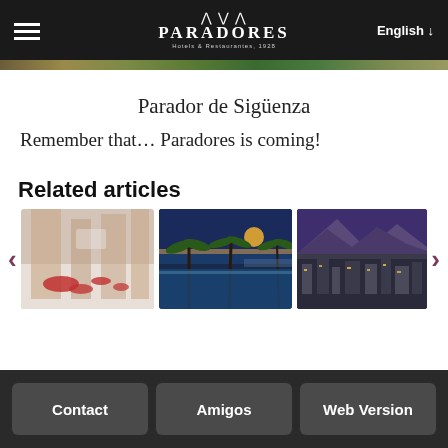Paradores Hotels & Restaurants since 1928 — English
Parador de Sigüenza
Remember that… Paradores is coming!
Related articles
[Figure (photo): Interior room with rose petals on floor and decorative elements]
[Figure (photo): Outdoor pool with palm trees at sunset]
[Figure (photo): Aerial view of a coastal town at dusk]
Contact | Amigos | Web Version